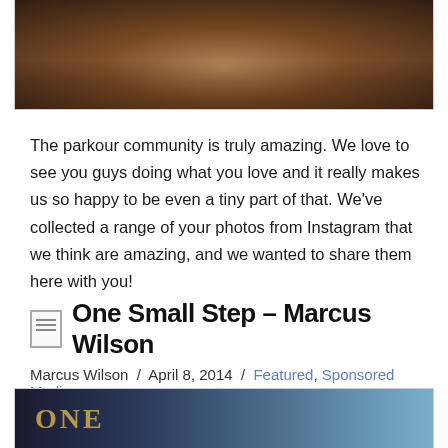[Figure (photo): Partial view of an outdoor parkour/urban ruins scene with brown and dark tones, cropped at top of page]
The parkour community is truly amazing. We love to see you guys doing what you love and it really makes us so happy to be even a tiny part of that. We've collected a range of your photos from Instagram that we think are amazing, and we wanted to share them here with you!
One Small Step – Marcus Wilson
Marcus Wilson / April 8, 2014 / Featured, Sponsored Media
[Figure (photo): Bottom portion of a book or movie cover titled 'ONE' with blue and dark tones]